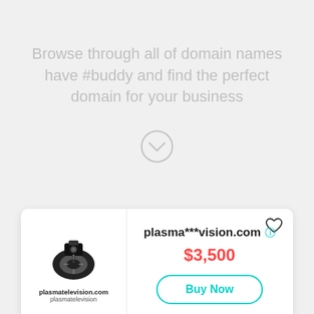Browse through all of domain names have #buddy and find the perfect domain for your business
[Figure (illustration): Circular chevron/down-arrow icon outline in light gray]
[Figure (logo): plasmatelevision.com logo: black and white graphic of a camera/tire vehicle, with bold text 'plasmatelevision.com' and 'plasmatelevision' below]
plasma***vision.com
$3,500
Buy Now